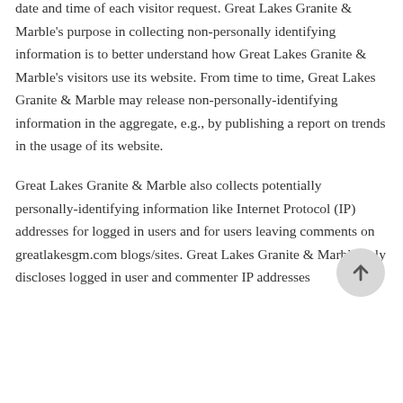date and time of each visitor request. Great Lakes Granite & Marble's purpose in collecting non-personally identifying information is to better understand how Great Lakes Granite & Marble's visitors use its website. From time to time, Great Lakes Granite & Marble may release non-personally-identifying information in the aggregate, e.g., by publishing a report on trends in the usage of its website.
Great Lakes Granite & Marble also collects potentially personally-identifying information like Internet Protocol (IP) addresses for logged in users and for users leaving comments on greatlakesgm.com blogs/sites. Great Lakes Granite & Marble only discloses logged in user and commenter IP addresses